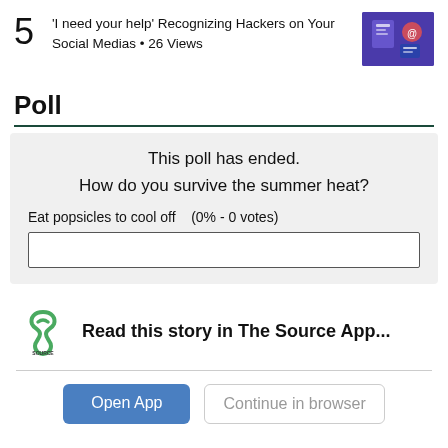5 'I need your help' Recognizing Hackers on Your Social Medias • 26 Views
Poll
This poll has ended.
How do you survive the summer heat?
Eat popsicles to cool off   (0% - 0 votes)
[Figure (other): Empty poll bar for 0% votes]
[Figure (logo): Student News Source app logo - green S shape with text Student News SOURCE below]
Read this story in The Source App...
Open App   Continue in browser